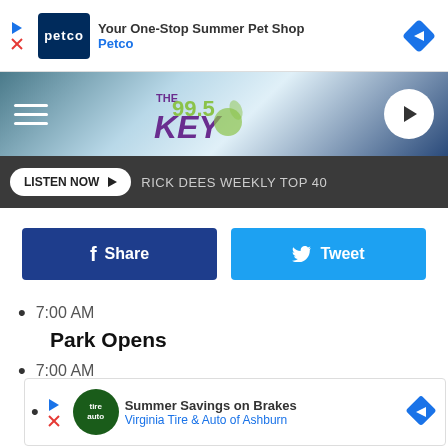[Figure (screenshot): Petco ad banner: Your One-Stop Summer Pet Shop / Petco with logo and navigation arrow]
[Figure (screenshot): The 99.5 KEY radio station header with hamburger menu, logo, and play button]
LISTEN NOW  RICK DEES WEEKLY TOP 40
[Figure (screenshot): Share and Tweet social media buttons]
7:00 AM
Park Opens
7:00 AM
Church Service (Stage)
[Figure (screenshot): Virginia Tire & Auto ad: Summer Savings on Brakes]